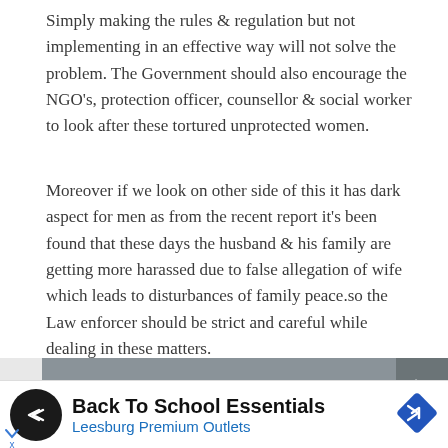Simply making the rules & regulation but not implementing in an effective way will not solve the problem. The Government should also encourage the NGO's, protection officer, counsellor & social worker to look after these tortured unprotected women.
Moreover if we look on other side of this it has dark aspect for men as from the recent report it's been found that these days the husband & his family are getting more harassed due to false allegation of wife which leads to disturbances of family peace.so the Law enforcer should be strict and careful while dealing in these matters.
[Figure (screenshot): A grey navigation bar with 'Also Read' link text and 'Infosys Technologies Ltd. v.' partially visible, with a right-pointing chevron arrow on the right side and a down chevron on the left.]
[Figure (other): Advertisement banner for Back To School Essentials at Leesburg Premium Outlets, with a circular black logo showing double-arrow icon on the left and a blue diamond navigation icon on the right.]